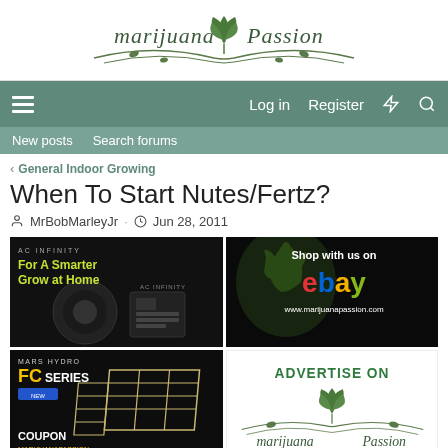[Figure (logo): Marijuana Passion logo with cannabis leaf]
Log in  Register
New posts  Search forums
General Indoor Growing
When To Start Nutes/Fertz?
MrBobMarleyJr · Jun 28, 2011
[Figure (screenshot): AC Infinity ad: For A Smarter Grow at Home]
[Figure (screenshot): Shop with us on eBay - www.marijuanapassion.com]
[Figure (screenshot): Mars Hydro FC Series ad with COUPON MARIJUANAPASSION]
[Figure (screenshot): Advertise On Marijuana Passion logo]